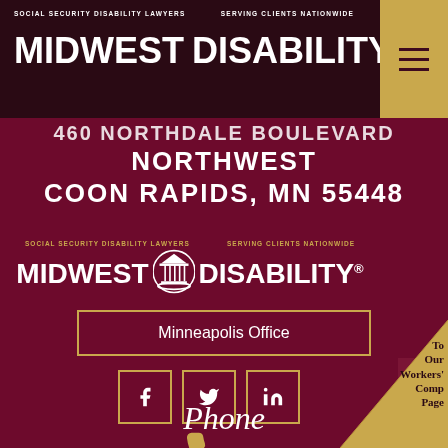[Figure (logo): Midwest Disability logo with courthouse icon, taglines 'Social Security Disability Lawyers' and 'Serving Clients Nationwide', white text on dark maroon background]
460 NORTHDALE BOULEVARD NORTHWEST COON RAPIDS, MN 55448
[Figure (logo): Midwest Disability secondary logo with gold taglines on maroon background]
Minneapolis Office
[Figure (infographic): Social media icons: Facebook, Twitter, LinkedIn in gold-bordered square buttons; phone icon in gold; scroll-up button; page curl with Workers' Comp text]
Phone